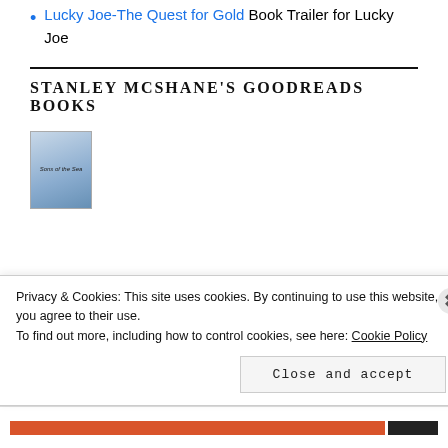Lucky Joe-The Quest for Gold Book Trailer for Lucky Joe
STANLEY MCSHANE'S GOODREADS BOOKS
[Figure (illustration): Book cover thumbnail for 'Sons of the Sea' with blue-grey illustrated cover]
Privacy & Cookies: This site uses cookies. By continuing to use this website, you agree to their use.
To find out more, including how to control cookies, see here: Cookie Policy
Close and accept